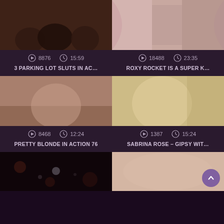[Figure (screenshot): Video thumbnail grid showing 6 video cards in 2 columns with thumbnails, play/clock icons, view counts, durations, and titles]
8876  15:59
3 PARKING LOT SLUTS IN AC...
18488  23:35
ROXY ROCKET IS A SUPER K...
8468  12:24
PRETTY BLONDE IN ACTION 76
1387  15:24
SABRINA ROSE - GIPSY WIT...